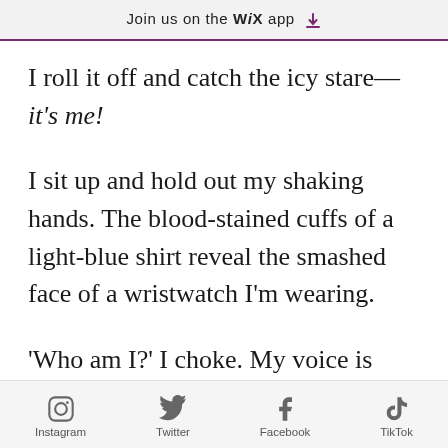Join us on the WiX app
I roll it off and catch the icy stare—
it's me!
I sit up and hold out my shaking hands. The blood-stained cuffs of a light-blue shirt reveal the smashed face of a wristwatch I'm wearing.
'Who am I?' I choke. My voice is deep and ragged.
Instagram  Twitter  Facebook  TikTok